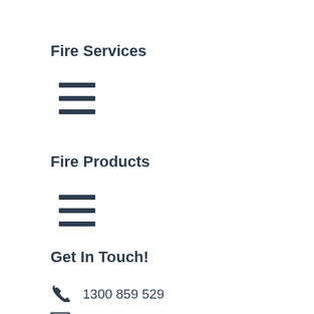Fire Services
[Figure (other): Hamburger menu icon (three horizontal lines)]
Fire Products
[Figure (other): Hamburger menu icon (three horizontal lines)]
Get In Touch!
1300 859 529
service@aegissafe.com.au